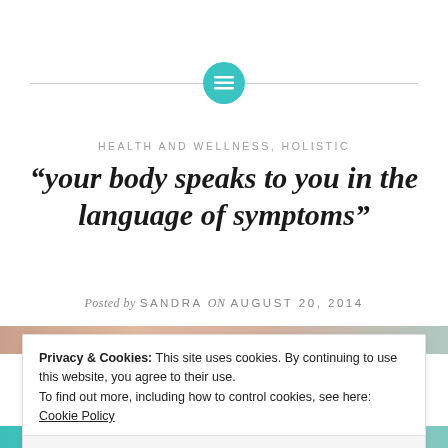[Figure (logo): Teal circle with white horizontal lines icon, centered on a horizontal gray divider line]
HEALTH AND WELLNESS, HOLISTIC
“your body speaks to you in the language of symptoms”
Posted by SANDRA on AUGUST 20, 2014
[Figure (photo): Partial photo strip visible at top and bottom, teal/coral tones]
Privacy & Cookies: This site uses cookies. By continuing to use this website, you agree to their use.
To find out more, including how to control cookies, see here: Cookie Policy
Close and accept